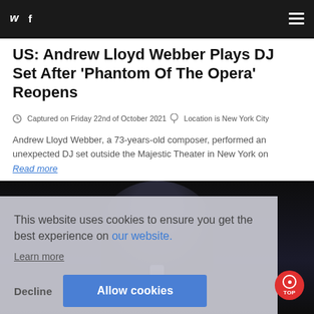Twitter icon  Facebook icon  Hamburger menu
US: Andrew Lloyd Webber Plays DJ Set After 'Phantom Of The Opera' Reopens
Captured on Friday 22nd of October 2021  Location is New York City
Andrew Lloyd Webber, a 73-years-old composer, performed an unexpected DJ set outside the Majestic Theater in New York on
Read more
[Figure (photo): Dark image of a performer silhouette with a light glow, appearing to be outside at night]
This website uses cookies to ensure you get the best experience on our website. Learn more
Decline  Allow cookies